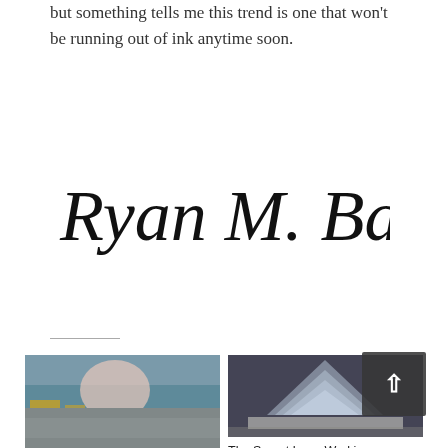but something tells me this trend is one that won't be running out of ink anytime soon.
[Figure (illustration): Handwritten cursive signature reading 'Ryan M. Balikian']
[Figure (photo): A child using medical devices/prosthetics at a table]
Why Medical Devices are not for Kids but should be
[Figure (photo): A glass or crystal pyramid model on a light background]
The Secret Inner Workings of the Pyramids
[Figure (photo): Partial bottom image, partially visible]